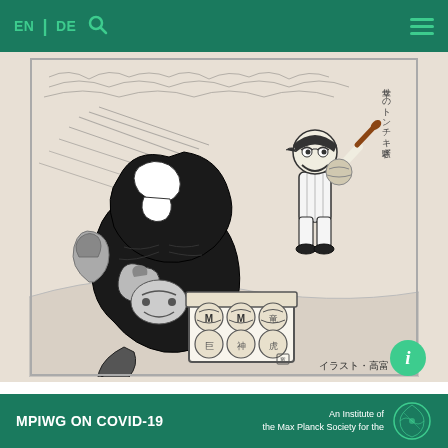EN | DE [search icon] [hamburger menu]
[Figure (illustration): Black and white Japanese illustration showing a large dark tanuki (raccoon dog) creature wearing a mask, crouching over a box of balls/manjuu with 'M' markings, while a baseball player with a bat stands in the background. Japanese text on right side reads vertical text. Caption at bottom reads: イラスト・高富 武]
MPIWG ON COVID-19 | An Institute of the Max Planck Society for the [logo]